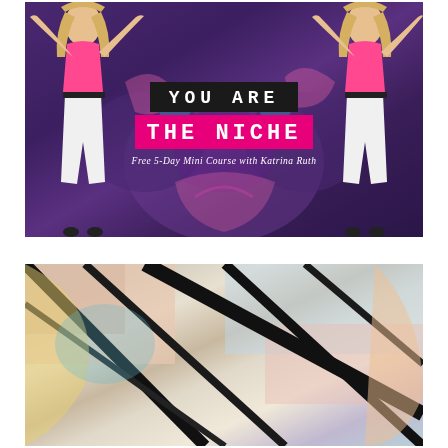[Figure (photo): Promotional banner image showing a woman in pink outfit posing against colorful graffiti wall (mirrored on both sides). Text overlay reads 'YOU ARE THE NICHE - Free 5-Day Mini Course with Katrina Ruth']
[Figure (photo): Partial view of abstract colorful graffiti art with diagonal black lines and pastel tones]